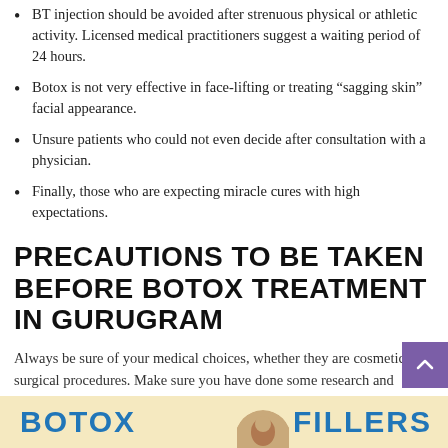BT injection should be avoided after strenuous physical or athletic activity. Licensed medical practitioners suggest a waiting period of 24 hours.
Botox is not very effective in face-lifting or treating “sagging skin” facial appearance.
Unsure patients who could not even decide after consultation with a physician.
Finally, those who are expecting miracle cures with high expectations.
PRECAUTIONS TO BE TAKEN BEFORE BOTOX TREATMENT IN GURUGRAM
Always be sure of your medical choices, whether they are cosmetic or surgical procedures. Make sure you have done some research and consult a good medical practitioner with a reputation. Do not compromise on the price and find out more information on session-wise billing.
[Figure (illustration): Bottom strip showing BOTOX and FILLERS text in blue on a light yellow background, with a partial circular image in the center]